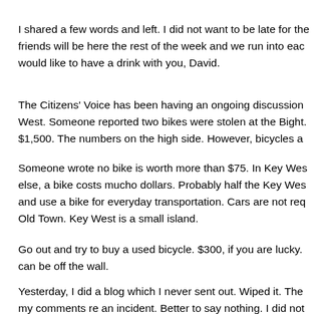I shared a few words and left. I did not want to be late for the friends will be here the rest of the week and we run into eac would like to have a drink with you, David.
The Citizens' Voice has been having an ongoing discussion West. Someone reported two bikes were stolen at the Bight. $1,500. The numbers on the high side. However, bicycles a
Someone wrote no bike is worth more than $75. In Key Wes else, a bike costs mucho dollars. Probably half the Key Wes and use a bike for everyday transportation. Cars are not req Old Town. Key West is a small island.
Go out and try to buy a used bicycle. $300, if you are lucky. can be off the wall.
Yesterday, I did a blog which I never sent out. Wiped it. The my comments re an incident. Better to say nothing. I did not